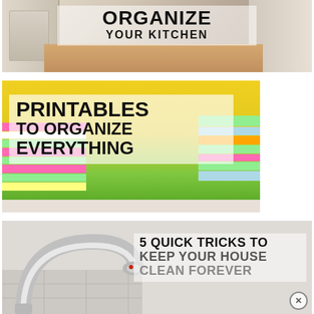[Figure (infographic): Photo of a kitchen with white cabinets, with text overlay reading 'ORGANIZE YOUR KITCHEN' in bold black uppercase font on a semi-transparent white background.]
[Figure (infographic): Photo of colorful stacked notebooks/binders with text overlay reading 'PRINTABLES TO ORGANIZE EVERYTHING' in bold black uppercase font on a semi-transparent white background.]
[Figure (infographic): Photo of a chrome bathroom faucet with text overlay reading '5 QUICK TRICKS TO KEEP YOUR HOUSE CLEAN FOREVER' in bold uppercase font on a semi-transparent white background.]